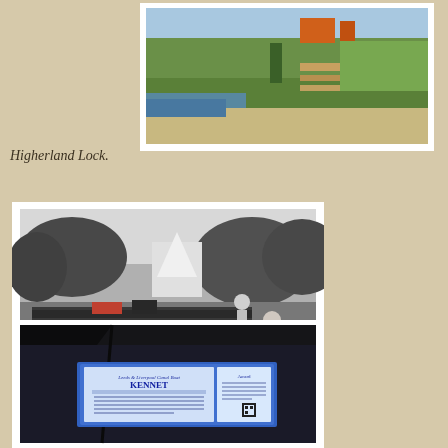[Figure (photo): Color photo of Higherland Lock construction/maintenance scene with grass, water, and construction equipment]
Higherland Lock.
[Figure (photo): Black and white photo of a narrowboat on a canal with people on the towpath]
[Figure (photo): Photo of Leeds & Liverpool Canal Boat Kennet certificate/plaque on a dark background]